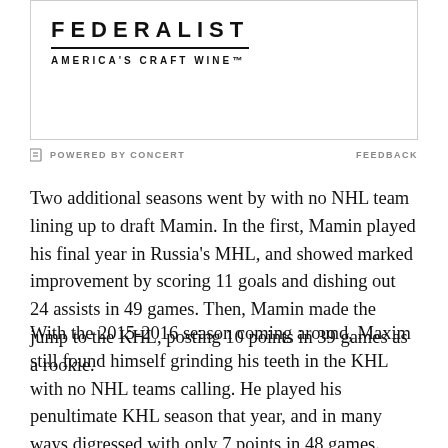[Figure (logo): Federalist America's Craft Wine advertisement logo in a bordered box]
⊟ POWERED BY CONCERT   FEEDBACK
Two additional seasons went by with no NHL team lining up to draft Mamin. In the first, Mamin played his final year in Russia's MHL, and showed marked improvement by scoring 11 goals and dishing out 24 assists in 49 games. Then, Mamin made the jump to the KHL, posting 10 points in 39 games as a rookie.
With the 2015-2016 season coming around, Maxim still found himself grinding his teeth in the KHL with no NHL teams calling. He played his penultimate KHL season that year, and in many ways digressed with only 7 points in 48 games. Things looked bleak for Mamin, and it likely was reflecting in his play. And then, for